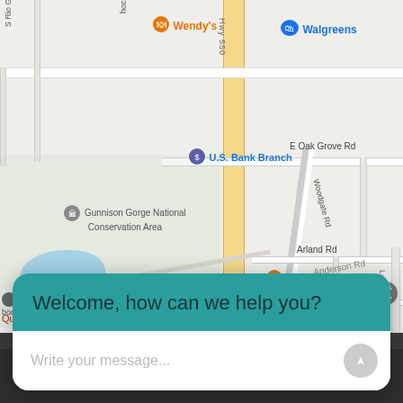[Figure (map): Google Maps screenshot showing area around Hwy 550 in Montrose, Colorado. Visible landmarks include Wendy's, Walgreens, U.S. Bank Branch, Starbucks, Gunnison Gorge National Conservation Area. Roads include E Oak Grove Rd, Woodgate Rd, Arland Rd, Anderson Rd, Sneffels St. Water bodies visible on left side.]
Welcome, how can we help you?
Write your message...